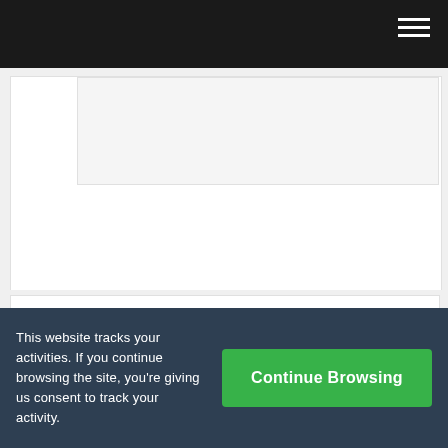Navigation bar with hamburger menu
Wendy Rohan says
AUGUST 8, 2013 AT 4:40 AM

Great article Jeff! I think you did an excellent job covering the topic. The new design looks amazing too!
This website tracks your activities. If you continue browsing the site, you're giving us consent to track your activity.
Continue Browsing